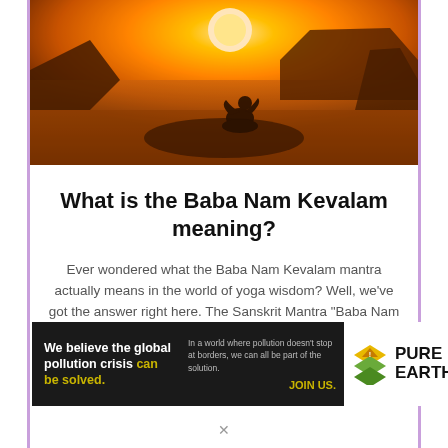[Figure (photo): Silhouette of a person meditating on a rock at sunset with golden orange sky and water in the background]
What is the Baba Nam Kevalam meaning?
Ever wondered what the Baba Nam Kevalam mantra actually means in the world of yoga wisdom? Well, we've got the answer right here. The Sanskrit Mantra "Baba Nam Kevalam" means to chant the name of the beloved. As an alternative
[Figure (infographic): Pure Earth advertisement banner: 'We believe the global pollution crisis can be solved. In a world where pollution doesn't stop at borders, we can all be part of the solution. JOIN US.' with Pure Earth logo]